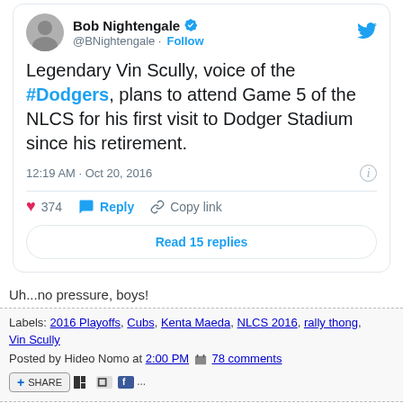[Figure (screenshot): Tweet from @BNightengale (Bob Nightengale) with verified badge and Follow button. Tweet text: 'Legendary Vin Scully, voice of the #Dodgers, plans to attend Game 5 of the NLCS for his first visit to Dodger Stadium since his retirement.' Timestamp: 12:19 AM · Oct 20, 2016. Actions: 374 likes, Reply, Copy link. Read 15 replies button.]
Uh...no pressure, boys!
Labels: 2016 Playoffs, Cubs, Kenta Maeda, NLCS 2016, rally thong, Vin Scully
Posted by Hideo Nomo at 2:00 PM  78 comments